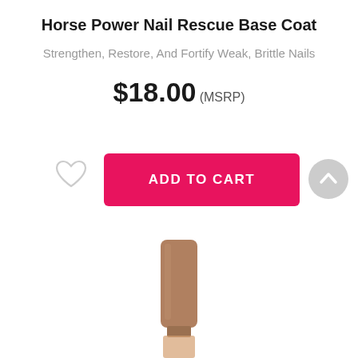Horse Power Nail Rescue Base Coat
Strengthen, Restore, And Fortify Weak, Brittle Nails
$18.00 (MSRP)
[Figure (illustration): Heart/wishlist icon (outline), pink ADD TO CART button, and upward arrow scroll button]
[Figure (photo): Bottom portion of a nail polish bottle with a tan/brown cap]